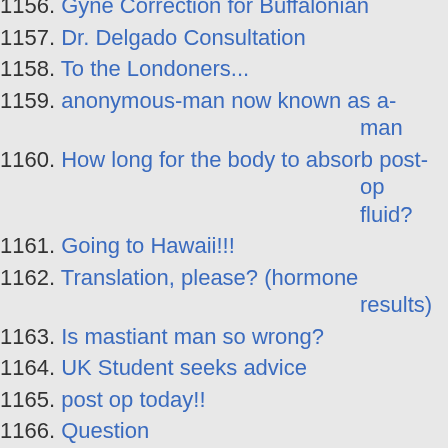1156. Gyne Correction for Buffalonian
1157. Dr. Delgado Consultation
1158. To the Londoners...
1159. anonymous-man now known as a-man
1160. How long for the body to absorb post-op fluid?
1161. Going to Hawaii!!!
1162. Translation, please? (hormone results)
1163. Is mastiant man so wrong?
1164. UK Student seeks advice
1165. post op today!!
1166. Question
1167. Wheres the cheapest place to get surgery?
1168. does gyne look good on some men?